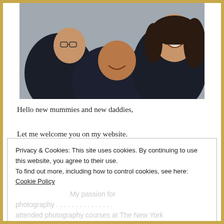[Figure (photo): Selfie photo of a woman with curly dark hair smiling, with two boys in dark jackets also smiling, taken outdoors.]
Hello new mummies and new daddies,
Let me welcome you on my website.
My name is Chrysoulla Louca and I am a
Privacy & Cookies: This site uses cookies. By continuing to use this website, you agree to their use.
To find out more, including how to control cookies, see here: Cookie Policy
My passion for
photography...
attended photography courses at The New York Academy of Art. Since then, I am attending lots of seminars and workshops about my work. I learn more and more in order to provide my clients with
Close and accept